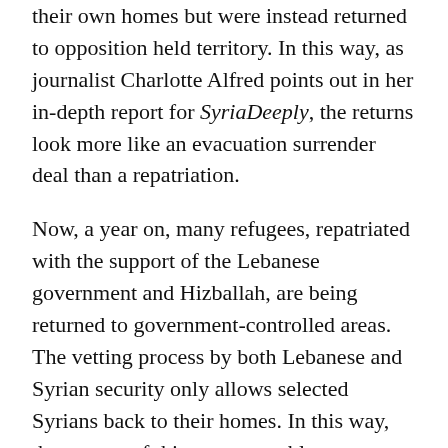their own homes but were instead returned to opposition held territory. In this way, as journalist Charlotte Alfred points out in her in-depth report for SyriaDeeply, the returns look more like an evacuation surrender deal than a repatriation.
Now, a year on, many refugees, repatriated with the support of the Lebanese government and Hizballah, are being returned to government-controlled areas. The vetting process by both Lebanese and Syrian security only allows selected Syrians back to their homes. In this way, the returns of this year resemble more closely reconciliation deals than the evacuation-surrender style deals of before.
Reconciliation deals inside of Syria tend to absorb ex-opposition fighters under the control of regime divisions or local councils and transport those unwilling to move to new positions to rebel-held